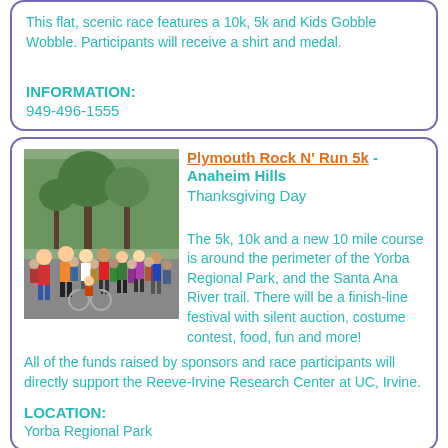This flat, scenic race features a 10k, 5k and Kids Gobble Wobble. Participants will receive a shirt and medal.
INFORMATION:
949-496-1555
Plymouth Rock N' Run 5k - Anaheim Hills Thanksgiving Day
[Figure (photo): Crowd of runners at the start of a race near trees in a park setting]
The 5k, 10k and a new 10 mile course is around the perimeter of the Yorba Regional Park, and the Santa Ana River trail. There will be a finish-line festival with silent auction, costume contest, food, fun and more!
All of the funds raised by sponsors and race participants will directly support the Reeve-Irvine Research Center at UC, Irvine.
LOCATION:
Yorba Regional Park